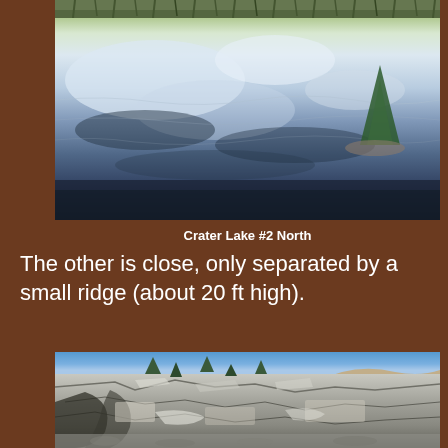[Figure (photo): Photograph of Crater Lake #2 North showing a still lake surface reflecting clouds and sky, with a small evergreen tree visible on the right shore and grasses/reeds along the top edge.]
Crater Lake #2 North
The other is close, only separated by a small ridge (about 20 ft high).
[Figure (photo): Photograph of a rocky mountain ridge/cliff face with exposed grey limestone or granite rock formations, sparse evergreen trees, and a clear blue sky above. Rocky scree visible at the bottom.]